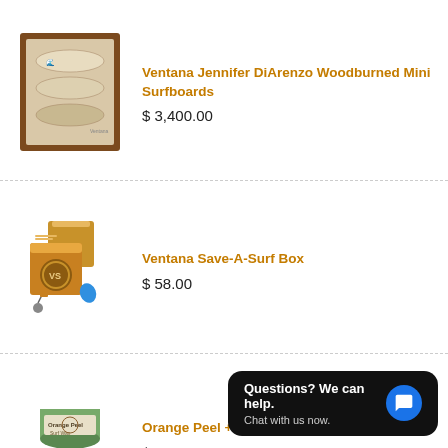[Figure (photo): Framed woodburned mini surfboards artwork in a brown wooden frame]
Ventana Jennifer DiArenzo Woodburned Mini Surfboards
$ 3,400.00
[Figure (photo): Ventana Save-A-Surf Box - wooden box with accessories and blue guitar pick]
Ventana Save-A-Surf Box
$ 58.00
[Figure (photo): Orange Peel + Ventana Surf Wax Package - wax containers with keychain accessories]
Orange Peel + Ventana Surf Wax Package
$ 17.50
Questions? We can help. Chat with us now.